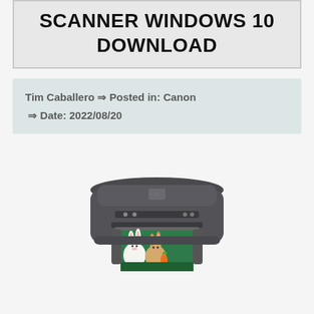SCANNER WINDOWS 10 DOWNLOAD
Tim Caballero ⇒ Posted in: Canon ⇒ Date: 2022/08/20
[Figure (photo): Canon printer/scanner device (inkjet all-in-one) viewed from front-top angle, printing a photo of two white rabbits on grass]